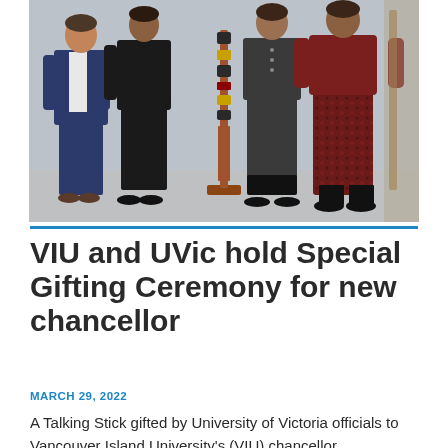[Figure (photo): Four people standing in a row in front of a grey concrete wall. A decorated Talking Stick on a wooden stand is positioned in the center among them. From left: a man in a navy suit, a woman in black, a woman in dark grey, and a woman in a dark red patterned dress.]
VIU and UVic hold Special Gifting Ceremony for new chancellor
MARCH 29, 2022
A Talking Stick gifted by University of Victoria officials to Vancouver Island University's (VIU) chancellor,